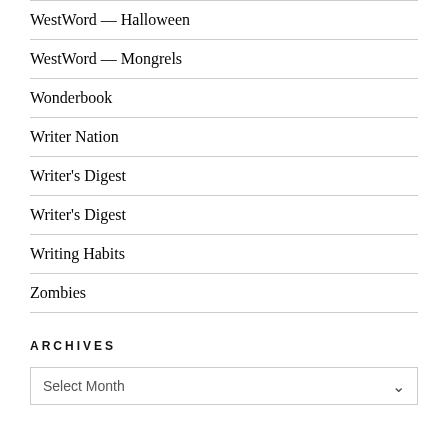WestWord — Halloween
WestWord — Mongrels
Wonderbook
Writer Nation
Writer's Digest
Writer's Digest
Writing Habits
Zombies
ARCHIVES
Select Month